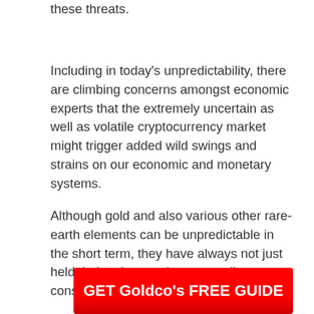these threats.
Including in today’s unpredictability, there are climbing concerns amongst economic experts that the extremely uncertain as well as volatile cryptocurrency market might trigger added wild swings and strains on our economic and monetary systems.
Although gold and also various other rare-earth elements can be unpredictable in the short term, they have always not just held their value, yet have actually constantly gone up in the long-term.
GET Goldco's FREE GUIDE